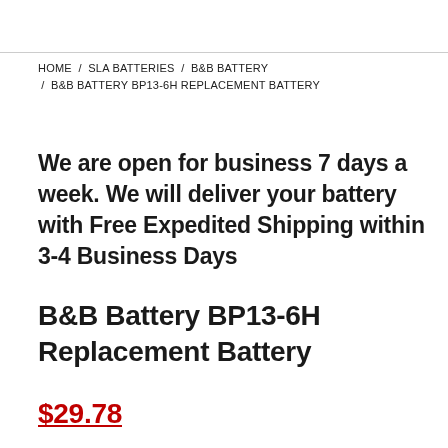HOME / SLA BATTERIES / B&B BATTERY / B&B BATTERY BP13-6H REPLACEMENT BATTERY
We are open for business 7 days a week. We will deliver your battery with Free Expedited Shipping within 3-4 Business Days
B&B Battery BP13-6H Replacement Battery
$29.78